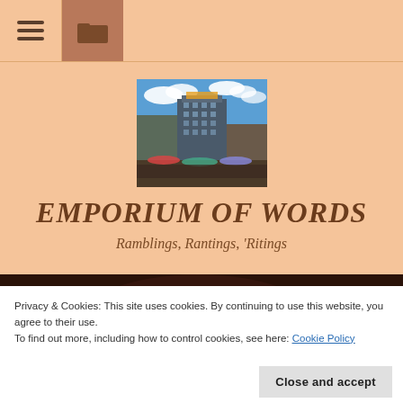Navigation bar with hamburger menu and folder icon
[Figure (photo): Aerial/street photograph of city buildings with blue sky and clouds — appears to be a cityscape with a tall modern office tower]
EMPORIUM OF WORDS
Ramblings, Rantings, 'Ritings
[Figure (photo): Dark photo, partially visible — dark brown/maroon tones, appears to be a close-up or indoor photo]
Privacy & Cookies: This site uses cookies. By continuing to use this website, you agree to their use.
To find out more, including how to control cookies, see here: Cookie Policy
Close and accept